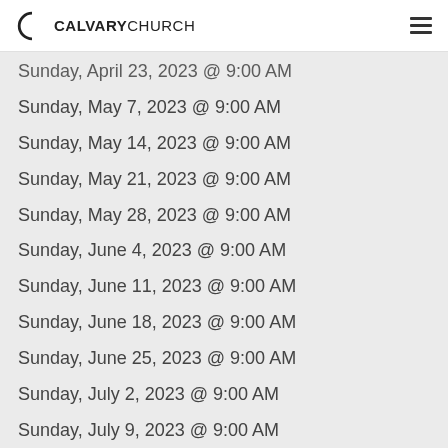CALVARY CHURCH
Sunday, April 23, 2023 @ 9:00 AM
Sunday, May 7, 2023 @ 9:00 AM
Sunday, May 14, 2023 @ 9:00 AM
Sunday, May 21, 2023 @ 9:00 AM
Sunday, May 28, 2023 @ 9:00 AM
Sunday, June 4, 2023 @ 9:00 AM
Sunday, June 11, 2023 @ 9:00 AM
Sunday, June 18, 2023 @ 9:00 AM
Sunday, June 25, 2023 @ 9:00 AM
Sunday, July 2, 2023 @ 9:00 AM
Sunday, July 9, 2023 @ 9:00 AM
Sunday, July 16, 2023 @ 9:00 AM
Sunday, July 23, 2023 @ 9:00 AM
Sunday, August 6, 2023 @ 9:00 AM
Sunday, August 13, 2023 @ 9:00 AM